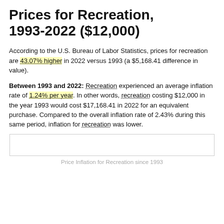Prices for Recreation, 1993-2022 ($12,000)
According to the U.S. Bureau of Labor Statistics, prices for recreation are 43.07% higher in 2022 versus 1993 (a $5,168.41 difference in value).
Between 1993 and 2022: Recreation experienced an average inflation rate of 1.24% per year. In other words, recreation costing $12,000 in the year 1993 would cost $17,168.41 in 2022 for an equivalent purchase. Compared to the overall inflation rate of 2.43% during this same period, inflation for recreation was lower.
[Figure (other): Empty chart placeholder box]
Price Inflation for Recreation since 1993